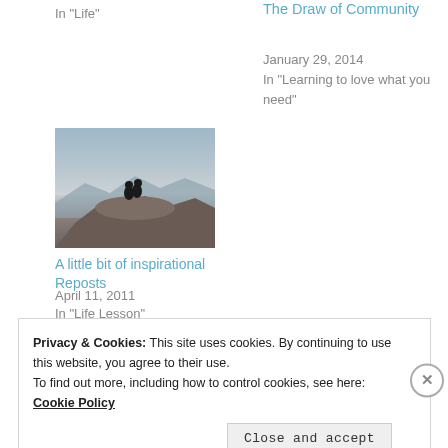In "Life"
The Draw of Community
January 29, 2014
In "Learning to love what you need"
[Figure (photo): Two people silhouetted on a rocky mountain peak against a cloudy sky with mountain ranges in the background]
A little bit of inspirational Reposts
April 11, 2011
In "Life Lesson"
Privacy & Cookies: This site uses cookies. By continuing to use this website, you agree to their use.
To find out more, including how to control cookies, see here:
Cookie Policy
Close and accept